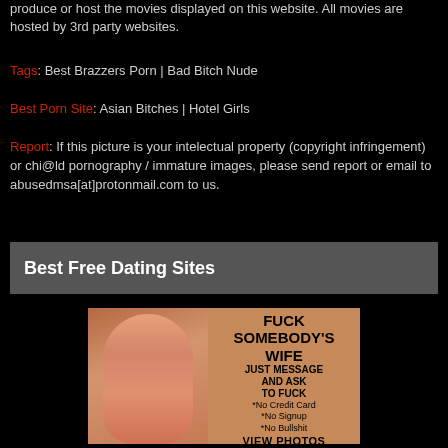produce or host the movies displayed on this website. All movies are hosted by 3rd party websites.
Tags: Best Brazzers Porn | Bad Bitch Nude
Best Porn Site: Asian Bitches | Hotel Girls
Report: If this picture is your intelectual property (copyright infringement) or chi@ld pornography / immature images, please send report or email to abusedmsa[at]protonmail.com to us.
Best Free Dating Sites
[Figure (photo): Advertisement image with a woman on the left side and promotional text on the right reading: FUCK SOMEBODY'S WIFE / JUST MESSAGE AND ASK TO FUCK / *No Credit Card *No Signup *No Bullshit / VIEW PHOTOS]